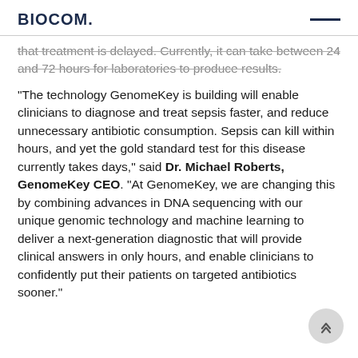BIOCOM.
that treatment is delayed. Currently, it can take between 24 and 72 hours for laboratories to produce results.
“The technology GenomeKey is building will enable clinicians to diagnose and treat sepsis faster, and reduce unnecessary antibiotic consumption. Sepsis can kill within hours, and yet the gold standard test for this disease currently takes days,” said Dr. Michael Roberts, GenomeKey CEO. “At GenomeKey, we are changing this by combining advances in DNA sequencing with our unique genomic technology and machine learning to deliver a next-generation diagnostic that will provide clinical answers in only hours, and enable clinicians to confidently put their patients on targeted antibiotics sooner.”